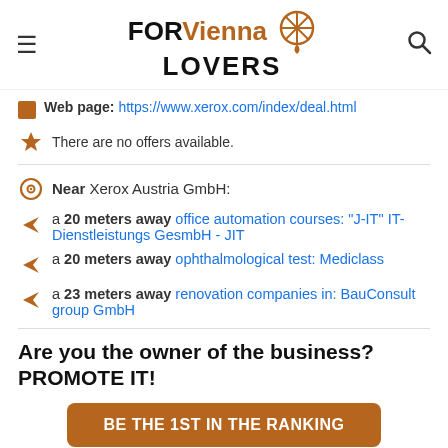FOR Vienna LOVERS
Web page: https://www.xerox.com/index/deal.html
There are no offers available.
Near Xerox Austria GmbH:
a 20 meters away office automation courses: "J-IT" IT-Dienstleistungs GesmbH - JIT
a 20 meters away ophthalmological test: Mediclass
a 23 meters away renovation companies in: BauConsult group GmbH
Are you the owner of the business? PROMOTE IT!
BE THE 1ST IN THE RANKING